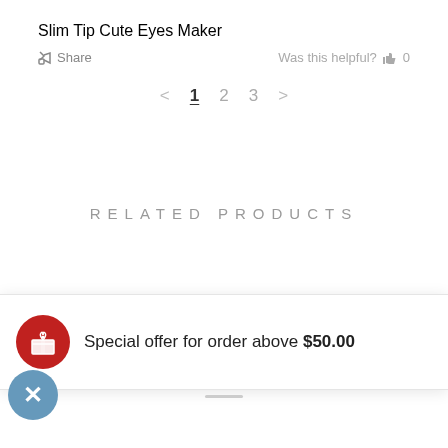Slim Tip Cute Eyes Maker
Share   Was this helpful?  0
< 1 2 3 >
RELATED PRODUCTS
Special offer for order above $50.00